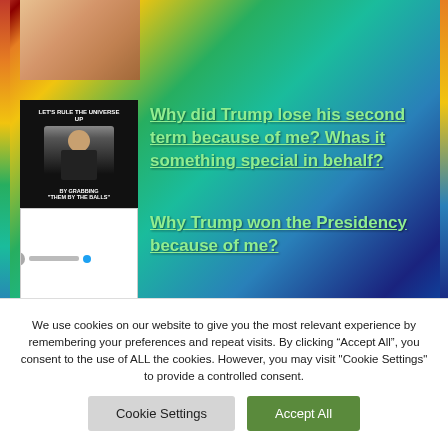[Figure (photo): Partial thumbnail image at top left, appears to show a food item with warm orange-brown tones]
[Figure (photo): Meme image showing a figure in dark clothing with text overlay reading 'LET'S RULE THE UNIVERSE' and 'BY GRABBING THEM BY THE BALLS']
Why did Trump lose his second term because of me? Whas it something special in behalf?
[Figure (screenshot): Screenshot of a tweet/social media post with small text lines]
Why Trump won the Presidency because of me?
We use cookies on our website to give you the most relevant experience by remembering your preferences and repeat visits. By clicking “Accept All”, you consent to the use of ALL the cookies. However, you may visit "Cookie Settings" to provide a controlled consent.